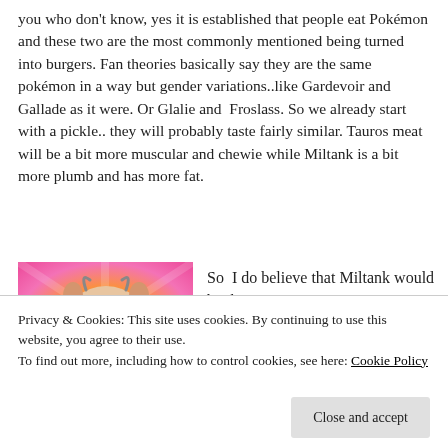you who don't know, yes it is established that people eat Pokémon and these two are the most commonly mentioned being turned into burgers. Fan theories basically say they are the same pokémon in a way but gender variations..like Gardevoir and Gallade as it were. Or Glalie and  Froslass. So we already start with a pickle.. they will probably taste fairly similar. Tauros meat will be a bit more muscular and chewie while Miltank is a bit more plumb and has more fat.
[Figure (illustration): Cartoon illustration of Miltank character with pink and yellow radial background]
So  I do believe that Miltank would be the...
Privacy & Cookies: This site uses cookies. By continuing to use this website, you agree to their use.
To find out more, including how to control cookies, see here: Cookie Policy
Tauros would be